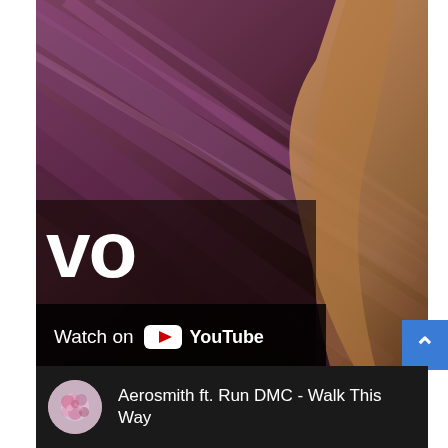[Figure (screenshot): YouTube/Vevo video thumbnail showing a zoomed-in abstract background in purple and brown tones. Large white 'VO' letters visible (partial 'VEVO' logo) in the lower left. A 'Watch on YouTube' overlay bar appears at the bottom left of the thumbnail.]
Watch on YouTube
[Figure (screenshot): YouTube video entry row with circular channel avatar on the left and video title 'Aerosmith ft. Run DMC - Walk This Way' on dark background.]
Aerosmith ft. Run DMC - Walk This Way